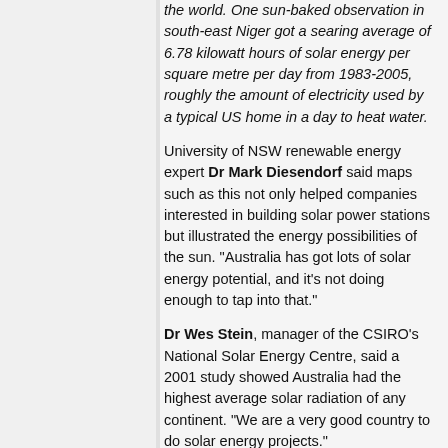the world. One sun-baked observation in south-east Niger got a searing average of 6.78 kilowatt hours of solar energy per square metre per day from 1983-2005, roughly the amount of electricity used by a typical US home in a day to heat water.
University of NSW renewable energy expert Dr Mark Diesendorf said maps such as this not only helped companies interested in building solar power stations but illustrated the energy possibilities of the sun. "Australia has got lots of solar energy potential, and it's not doing enough to tap into that."
Dr Wes Stein, manager of the CSIRO's National Solar Energy Centre, said a 2001 study showed Australia had the highest average solar radiation of any continent. "We are a very good country to do solar energy projects."
DSE Open Green Home Program